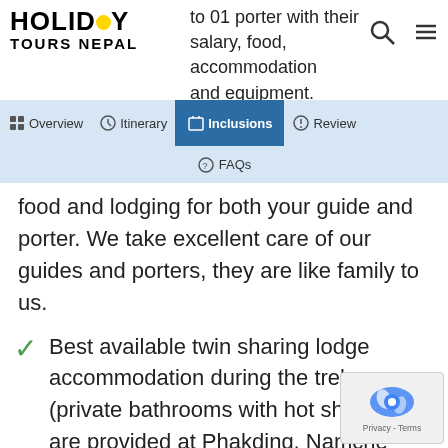Holiday Tours Nepal
to 01 porter with their salary, food, accommodation and equipment.
food and lodging for both your guide and porter. We take excellent care of our guides and porters, they are like family to us.
Best available twin sharing lodge accommodation during the trek (private bathrooms with hot showers are provided at Phakding, Namche and Lukla)
Three meals a day; breakfast, lunch and dinner and tea/coffee during the trekking.